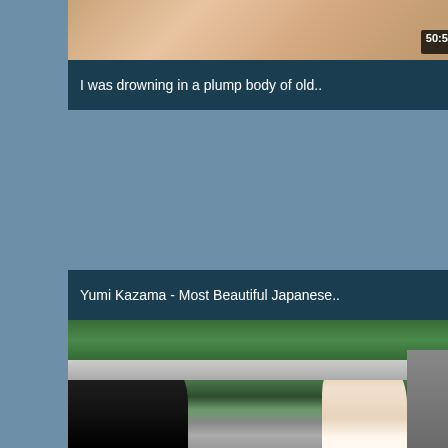[Figure (screenshot): Video thumbnail showing a blurred/cropped image with duration badge 50:57]
I was drowning in a plump body of old..
[Figure (screenshot): Video thumbnail placeholder area with duration badge 26:10]
Yumi Kazama - Most Beautiful Japanese..
[Figure (screenshot): Video thumbnail showing two people outdoors, a man and a woman on a path with trees]